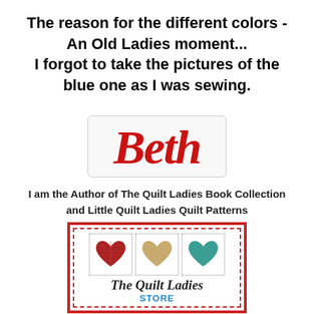The reason for the different colors - An Old Ladies moment...
I forgot to take the pictures of the blue one as I was sewing.
[Figure (logo): Beth signature logo in red italic script on a light gray rounded rectangle box]
I am the Author of The Quilt Ladies Book Collection and Little Quilt Ladies Quilt Patterns
[Figure (logo): The Quilt Ladies Store logo with three hearts (red, tan, teal) in dotted boxes inside a red dashed border on a red-bordered rectangle, with italic text 'The Quilt Ladies' and 'STORE' in teal]